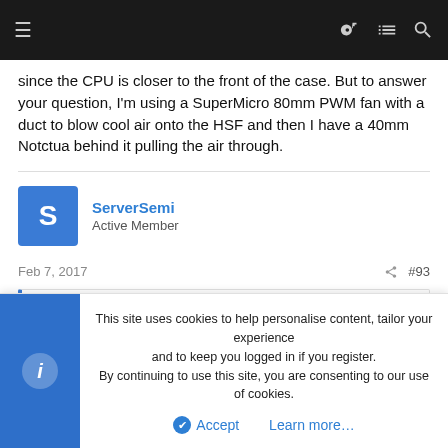Navigation bar with menu, key, list, and search icons
since the CPU is closer to the front of the case. But to answer your question, I'm using a SuperMicro 80mm PWM fan with a duct to blow cool air onto the HSF and then I have a 40mm Notctua behind it pulling the air through.
ServerSemi
Active Member
Feb 7, 2017
#93
This site uses cookies to help personalise content, tailor your experience and to keep you logged in if you register.
By continuing to use this site, you are consenting to our use of cookies.
Accept   Learn more...